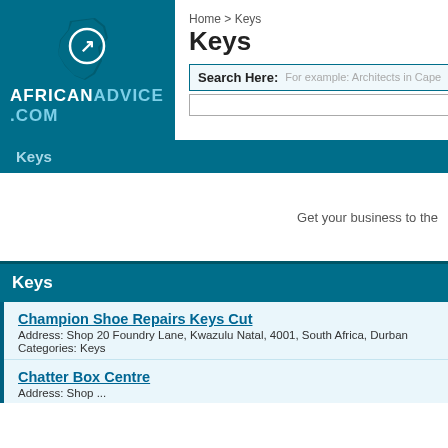[Figure (logo): AfricanAdvice.com logo with Africa map silhouette and arrow icon on teal background]
Home > Keys
Keys
Search Here: For example: Architects in Cape
Keys
Get your business to the
Keys
Champion Shoe Repairs Keys Cut
Address: Shop 20 Foundry Lane, Kwazulu Natal, 4001, South Africa, Durban
Categories: Keys
Chatter Box Centre
Address: Shop ...